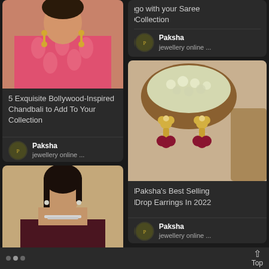[Figure (photo): Woman wearing pink printed kurta with chandelier earrings, cropped to show upper body and face]
5 Exquisite Bollywood-Inspired Chandbali to Add To Your Collection
Paksha
jewellery online ...
[Figure (photo): Woman wearing dark maroon dress with layered diamond necklace and earrings, hair in braid]
go with your Saree Collection
Paksha
jewellery online ...
[Figure (photo): Gold drop earrings with ruby red beads displayed against wooden bowl of white flowers]
Paksha's Best Selling Drop Earrings In 2022
Paksha
jewellery online ...